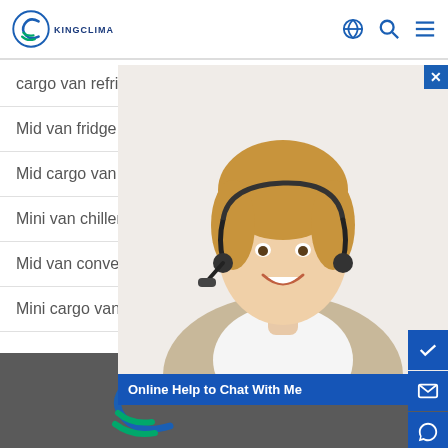[Figure (logo): KingClima logo with blue swoosh C icon and company name below]
cargo van refrigeration units 1-2m3box trans
Mid van fridge unit Ireland
Mid cargo van refrigeration Tajikistan
Mini van chiller unit Belize
Mid van convert refrigeration unit Philippines
Mini cargo van freezer units Uruguay
[Figure (photo): Woman with headset smiling, customer support representative, with Online Help to Chat With Me label]
[Figure (logo): KingClima logo in footer dark gray area]